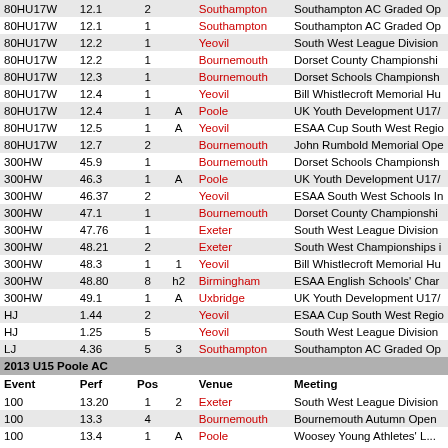| Event | Perf | Pos |  | Venue | Meeting |
| --- | --- | --- | --- | --- | --- |
| 80HU17W | 12.1 | 2 |  | Southampton | Southampton AC Graded Op |
| 80HU17W | 12.1 | 1 |  | Southampton | Southampton AC Graded Op |
| 80HU17W | 12.2 | 1 |  | Yeovil | South West League Division |
| 80HU17W | 12.2 | 1 |  | Bournemouth | Dorset County Championshi |
| 80HU17W | 12.3 | 1 |  | Bournemouth | Dorset Schools Championsh |
| 80HU17W | 12.4 | 1 |  | Yeovil | Bill Whistlecroft Memorial Hu |
| 80HU17W | 12.4 | 1 | A | Poole | UK Youth Development U17/ |
| 80HU17W | 12.5 | 1 | A | Yeovil | ESAA Cup South West Regio |
| 80HU17W | 12.7 | 2 |  | Bournemouth | John Rumbold Memorial Ope |
| 300HW | 45.9 | 1 |  | Bournemouth | Dorset Schools Championsh |
| 300HW | 46.3 | 1 | A | Poole | UK Youth Development U17/ |
| 300HW | 46.37 | 2 |  | Yeovil | ESAA South West Schools In |
| 300HW | 47.1 | 1 |  | Bournemouth | Dorset County Championshi |
| 300HW | 47.76 | 1 |  | Exeter | South West League Division |
| 300HW | 48.21 | 2 |  | Exeter | South West Championships i |
| 300HW | 48.3 | 1 | 1 | Yeovil | Bill Whistlecroft Memorial Hu |
| 300HW | 48.80 | 8 | h2 | Birmingham | ESAA English Schools' Char |
| 300HW | 49.1 | 1 | A | Uxbridge | UK Youth Development U17/ |
| HJ | 1.44 | 2 |  | Yeovil | ESAA Cup South West Regio |
| HJ | 1.25 | 5 |  | Yeovil | South West League Division |
| LJ | 4.36 | 5 | 3 | Southampton | Southampton AC Graded Op |
| 2013 U15 Poole AC |
| Event | Perf | Pos |  | Venue | Meeting |
| 100 | 13.20 | 1 | 2 | Exeter | South West League Division |
| 100 | 13.3 | 4 |  | Bournemouth | Bournemouth Autumn Open |
| 100 | 13.4 | 1 | A | Poole | Woosey Young Athletes' L... |